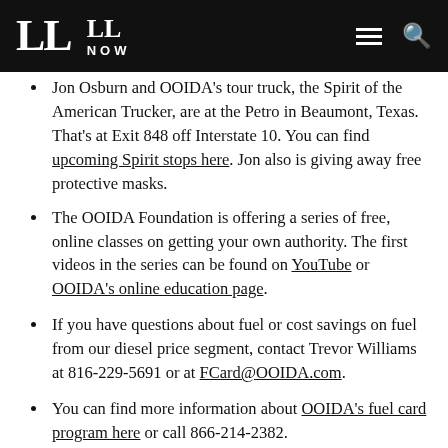LL | LL NOW
Jon Osburn and OOIDA's tour truck, the Spirit of the American Trucker, are at the Petro in Beaumont, Texas. That's at Exit 848 off Interstate 10. You can find upcoming Spirit stops here. Jon also is giving away free protective masks.
The OOIDA Foundation is offering a series of free, online classes on getting your own authority. The first videos in the series can be found on YouTube or OOIDA's online education page.
If you have questions about fuel or cost savings on fuel from our diesel price segment, contact Trevor Williams at 816-229-5691 or at FCard@OOIDA.com.
You can find more information about OOIDA's fuel card program here or call 866-214-2382.
Get more information about the freight market...